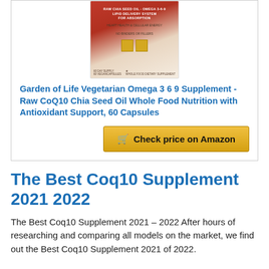[Figure (photo): Product image of Garden of Life supplement bottle with red and cream packaging]
Garden of Life Vegetarian Omega 3 6 9 Supplement - Raw CoQ10 Chia Seed Oil Whole Food Nutrition with Antioxidant Support, 60 Capsules
Check price on Amazon
The Best Coq10 Supplement 2021 2022
The Best Coq10 Supplement 2021 – 2022 After hours of researching and comparing all models on the market, we find out the Best Coq10 Supplement 2021 of 2022.